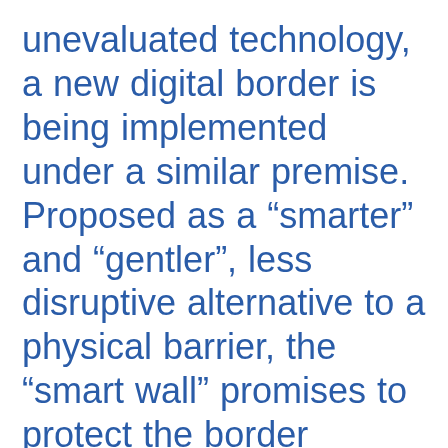unevaluated technology, a new digital border is being implemented under a similar premise. Proposed as a “smarter” and “gentler”, less disruptive alternative to a physical barrier, the “smart wall” promises to protect the border against threats by using allegedly non-intrusive, less expensive methods. The expectation is to build a